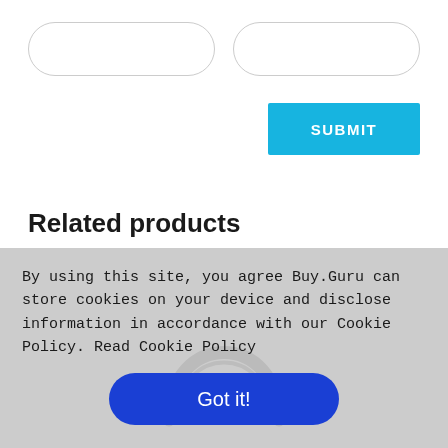[Figure (screenshot): Two rounded rectangle input fields side by side (form fields, empty)]
[Figure (screenshot): Blue submit button with text SUBMIT]
Related products
[Figure (photo): Top portion of over-ear headphones showing the headband and two ear cups from above, dark gray/black color]
By using this site, you agree Buy.Guru can store cookies on your device and disclose information in accordance with our Cookie Policy. Read Cookie Policy
[Figure (screenshot): Blue rounded button with text 'Got it!']